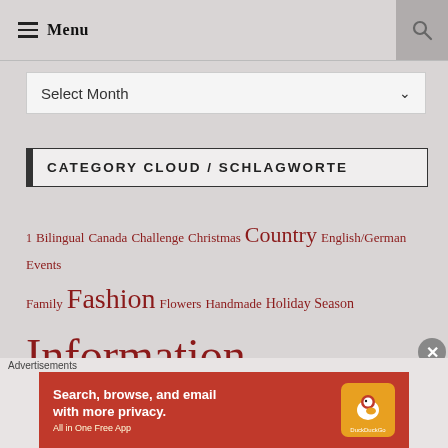Menu
Select Month
CATEGORY CLOUD / SCHLAGWORTE
1 Bilingual Canada Challenge Christmas Country English/German Events Family Fashion Flowers Handmade Holiday Season Information Knit Knitswissyarns Knitting Knitting Blog Life… News… Personal Photography…
Advertisements
Search, browse, and email with more privacy. All in One Free App DuckDuckGo